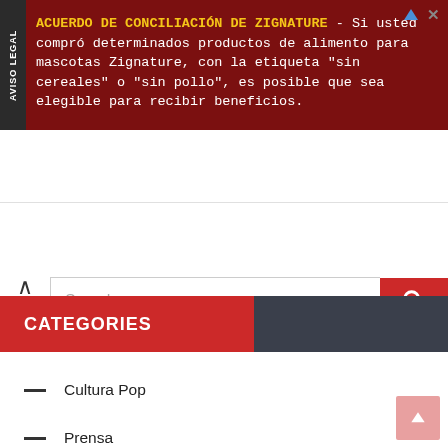[Figure (screenshot): Advertisement banner for 'Acuerdo de Conciliación de Zignature' in Spanish on a dark red background with yellow bold title text and white body text.]
[Figure (screenshot): Website search bar with a caret/chevron toggle icon on the left, a text input field with placeholder 'Search', and a red search button with a magnifying glass icon.]
CATEGORIES
Cultura Pop
Prensa
Tal Dia Como Hoy
Tus Favoritas
Uncategorized